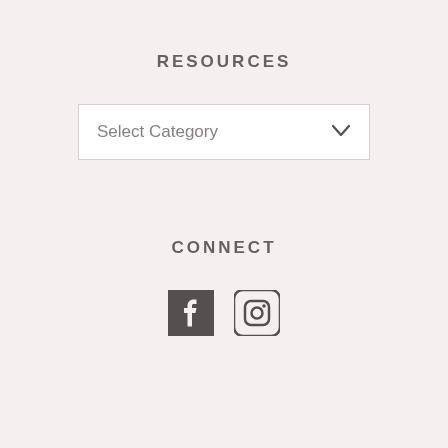RESOURCES
Select Category
CONNECT
[Figure (illustration): Facebook and Instagram social media icons side by side]